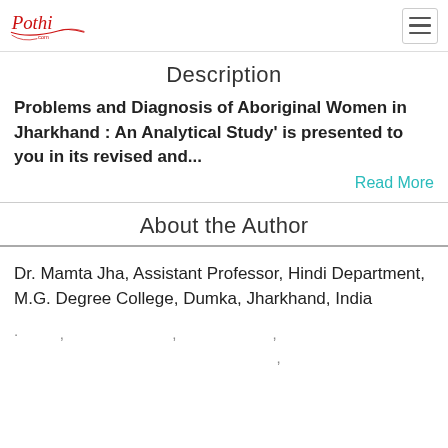Pothi.com
Description
Problems and Diagnosis of Aboriginal Women in Jharkhand : An Analytical Study' is presented to you in its revised and...
Read More
About the Author
Dr. Mamta Jha, Assistant Professor, Hindi Department, M.G. Degree College, Dumka, Jharkhand, India